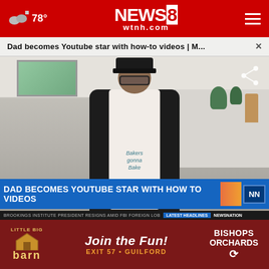78° NEWS8 wtnh.com
Dad becomes Youtube star with how-to videos | M...
[Figure (screenshot): Video player showing a man in a kitchen wearing a white apron that reads 'Bakers gonna Bake', wearing a black hat and glasses. Lower-third chyron reads 'AMERICAN HERO / DAD BECOMES YOUTUBE STAR WITH HOW TO VIDEOS' with NewsNation branding. Ticker reads 'BROOKINGS INSTITUTE PRESIDENT RESIGNS AMID FBI FOREIGN LOB | LATEST HEADLINES | NEWSNATION']
STEM
violence crimes
[Figure (advertisement): Ad banner for Bishops Orchards / Barn at Exit 57 Guilford. Text: 'Join the Fun! Exit 57 • Guilford · Bishops Orchards']